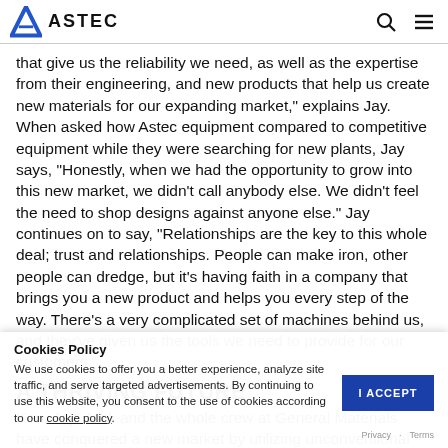ASTEC
that give us the reliability we need, as well as the expertise from their engineering, and new products that help us create new materials for our expanding market," explains Jay. When asked how Astec equipment compared to competitive equipment while they were searching for new plants, Jay says, "Honestly, when we had the opportunity to grow into this new market, we didn't call anybody else. We didn't feel the need to shop designs against anyone else." Jay continues on to say, "Relationships are the key to this whole deal; trust and relationships. People can make iron, other people can dredge, but it's having faith in a company that brings you a new product and helps you every step of the way. There's a very complicated set of machines behind us, and they've given us the tools we need to provide for our customers."
A THRIVING FUTURE
Ken, Jay, Jack and the whole crew at General Materials have conquered a new market by utilizing unconventional
Cookies Policy
We use cookies to offer you a better experience, analyze site traffic, and serve targeted advertisements. By continuing to use this website, you consent to the use of cookies according to our cookie policy.